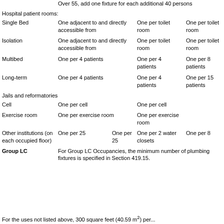|  | Over 55, add one fixture for each additional 40 persons |  |  |  |
| Hospital patient rooms: |  |  |  |  |
| Single Bed | One adjacent to and directly accessible from |  | One per toilet room | One per toilet room |
| Isolation | One adjacent to and directly accessible from |  | One per toilet room | One per toilet room |
| Multibed | One per 4 patients |  | One per 4 patients | One per 8 patients |
| Long-term | One per 4 patients |  | One per 4 patients | One per 15 patients |
| Jails and reformatories |  |  |  |  |
| Cell | One per cell |  | One per cell |  |
| Exercise room | One per exercise room |  | One per exercise room |  |
| Other institutions (on each occupied floor) | One per 25 | One per 25 | One per 2 water closets | One per 8 |
| Group LC | For Group LC Occupancies, the minimum number of plumbing fixtures is specified in Section 419.15. |  |  |  |
For the uses not listed above, 300 square feet (40.59 m²) per...